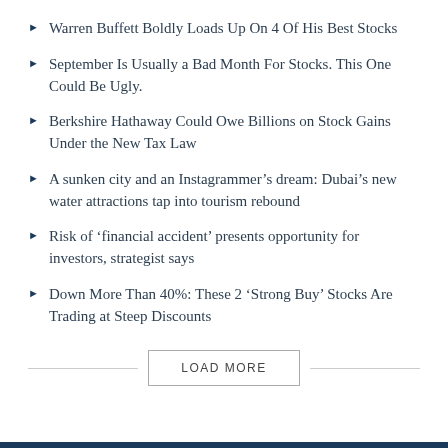Warren Buffett Boldly Loads Up On 4 Of His Best Stocks
September Is Usually a Bad Month For Stocks. This One Could Be Ugly.
Berkshire Hathaway Could Owe Billions on Stock Gains Under the New Tax Law
A sunken city and an Instagrammer’s dream: Dubai’s new water attractions tap into tourism rebound
Risk of ‘financial accident’ presents opportunity for investors, strategist says
Down More Than 40%: These 2 ‘Strong Buy’ Stocks Are Trading at Steep Discounts